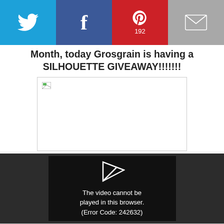[Figure (screenshot): Social sharing bar with Twitter, Facebook (no count), Pinterest (192), and Email buttons]
Month, today Grosgrain is having a SILHOUETTE GIVEAWAY!!!!!!!
[Figure (photo): Broken image placeholder box]
[Figure (screenshot): Video player error: The video cannot be played in this browser. (Error Code: 242632)]